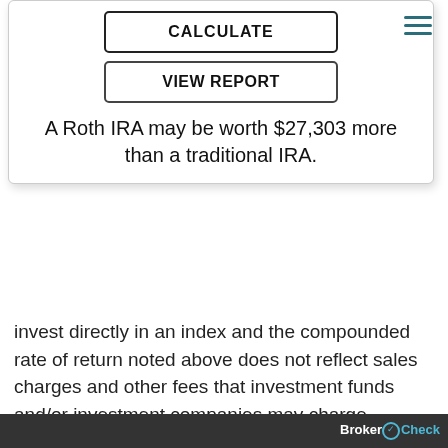[Figure (screenshot): CALCULATE button - rectangular button with bold uppercase text and border]
[Figure (screenshot): VIEW REPORT button - rectangular button with bold uppercase text and border]
A Roth IRA may be worth $27,303 more than a traditional IRA.
invest directly in an index and the compounded rate of return noted above does not reflect sales charges and other fees that investment funds and/or investment companies may charge.
Age at retirement
Age you wish to retire. This calculator assumes that the year you retire, you do not make any contributions to your IRA. For example, if you retire at age 65, you
BrokerCheck